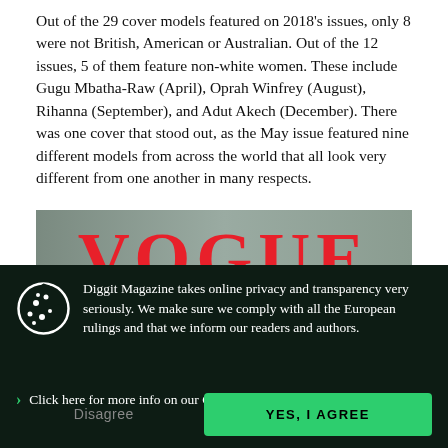Out of the 29 cover models featured on 2018's issues, only 8 were not British, American or Australian. Out of the 12 issues, 5 of them feature non-white women. These include Gugu Mbatha-Raw (April), Oprah Winfrey (August), Rihanna (September), and Adut Akech (December). There was one cover that stood out, as the May issue featured nine different models from across the world that all look very different from one another in many respects.
[Figure (photo): Vogue magazine May issue cover featuring nine diverse models of different ethnicities and backgrounds posed together, with the red VOGUE logo at the top]
Diggit Magazine takes online privacy and transparency very seriously. We make sure we comply with all the European rulings and that we inform our readers and authors.
Click here for more info on our Cookie Policy